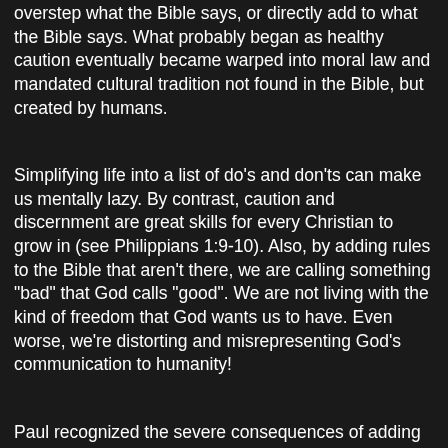overstep what the Bible says, or directly add to what the Bible says. What probably began as healthy caution eventually became warped into moral law and mandated cultural tradition not found in the Bible, but created by humans.
Simplifying life into a list of do's and don'ts can make us mentally lazy. By contrast, caution and discernment are great skills for every Christian to grow in (see Philippians 1:9-10). Also, by adding rules to the Bible that aren't there, we are calling something "bad" that God calls "good". We are not living with the kind of freedom that God wants us to have. Even worse, we're distorting and misrepresenting God's communication to humanity!
Paul recognized the severe consequences of adding to God's word, and so opposed this kind of teaching to assist in the purity of truth (see... 5).